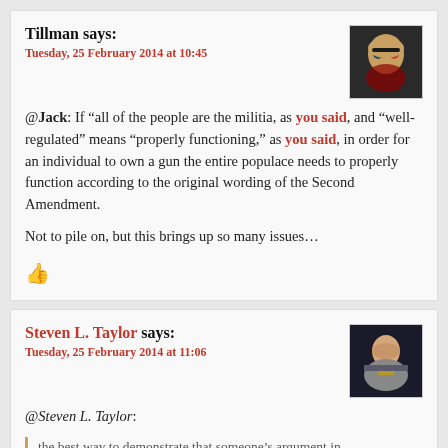Tillman says:
Tuesday, 25 February 2014 at 10:45
@Jack: If “all of the people are the militia, as you said, and “well-regulated” means “properly functioning,” as you said, in order for an individual to own a gun the entire populace needs to properly function according to the original wording of the Second Amendment.
Not to pile on, but this brings up so many issues…
Steven L. Taylor says:
Tuesday, 25 February 2014 at 11:06
@Steven L. Taylor:
the best way to demonstrate that someone’s argument in